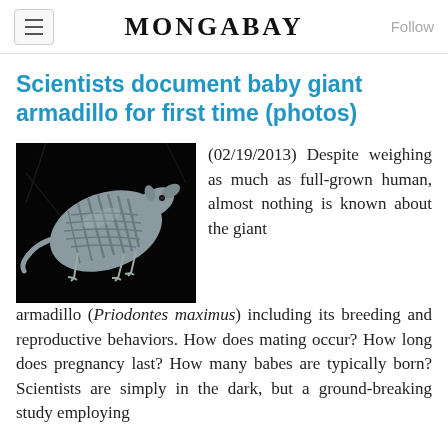MONGABAY
Scientists document baby giant armadillo for first time (photos)
[Figure (photo): A giant armadillo photographed at night against a dark background, showing its distinctive scaled armor, long claws, and tapered snout]
(02/19/2013) Despite weighing as much as full-grown human, almost nothing is known about the giant armadillo (Priodontes maximus) including its breeding and reproductive behaviors. How does mating occur? How long does pregnancy last? How many babes are typically born? Scientists are simply in the dark, but a ground-breaking study employing